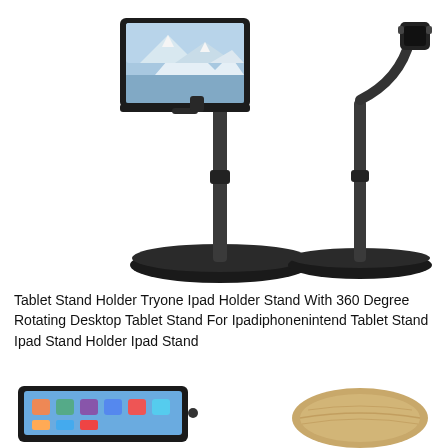[Figure (photo): Two black tablet stand holders with round bases and gooseneck/telescoping arms. Left stand holds a tablet displaying a winter mountain scene; right stand shows only the arm and mount without a tablet.]
Tablet Stand Holder Tryone Ipad Holder Stand With 360 Degree Rotating Desktop Tablet Stand For Ipadiphonenintend Tablet Stand Ipad Stand Holder Ipad Stand
[Figure (photo): Left: a tablet (iPad) lying flat showing app icons. Right: a round wooden disc/base, likely a wooden stand base.]